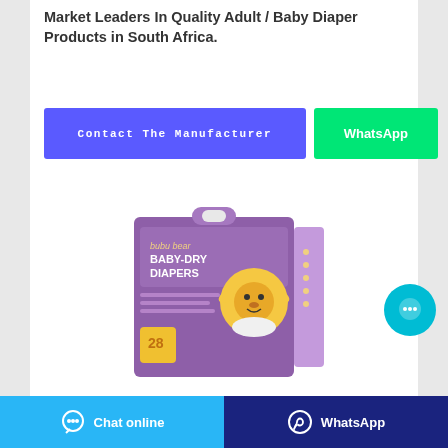Market Leaders In Quality Adult / Baby Diaper Products in South Africa.
Contact The Manufacturer
WhatsApp
[Figure (photo): Bubu Bear Baby-Dry Diapers product box in purple packaging with a cartoon bear character, showing 28 count size packaging]
Chat online
WhatsApp